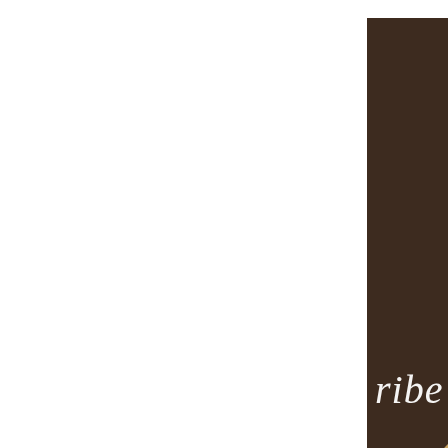[Figure (photo): A newsletter subscription form widget shown as a partially cropped panel. Top section shows a dark brown background with cream/orange flowers (roses or peonies) visible at the bottom of the panel. White cursive/script text reads 'ribe To Newso' (partially visible, full text: 'Subscribe To Newsletter'). Below in bold dark text is 'Email *'. A second panel below shows: a strip with floral image, a dark brown bar with white uppercase bold text 'SUBSCRIBE!', and a lower section split between very dark brown on the left and lighter tan/beige on the right with calligraphy-style strokes.]